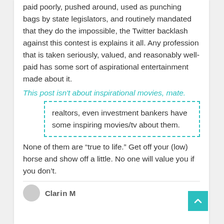paid poorly, pushed around, used as punching bags by state legislators, and routinely mandated that they do the impossible, the Twitter backlash against this contest is explains it all. Any profession that is taken seriously, valued, and reasonably well-paid has some sort of aspirational entertainment made about it.
This post isn't about inspirational movies, mate.
realtors, even investment bankers have some inspiring movies/tv about them.
None of them are “true to life.” Get off your (low) horse and show off a little. No one will value you if you don’t.